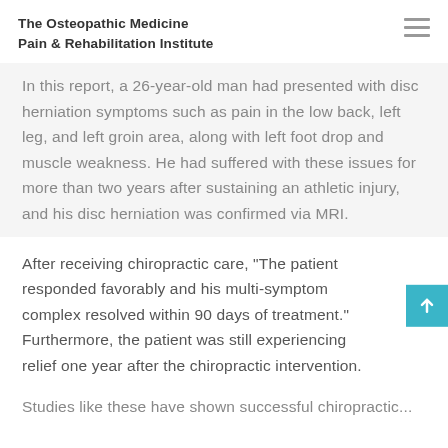The Osteopathic Medicine
Pain & Rehabilitation Institute
In this report, a 26-year-old man had presented with disc herniation symptoms such as pain in the low back, left leg, and left groin area, along with left foot drop and muscle weakness. He had suffered with these issues for more than two years after sustaining an athletic injury, and his disc herniation was confirmed via MRI.
After receiving chiropractic care, "The patient responded favorably and his multi-symptom complex resolved within 90 days of treatment." Furthermore, the patient was still experiencing relief one year after the chiropractic intervention.
Studies like these have shown successful chiropractic...